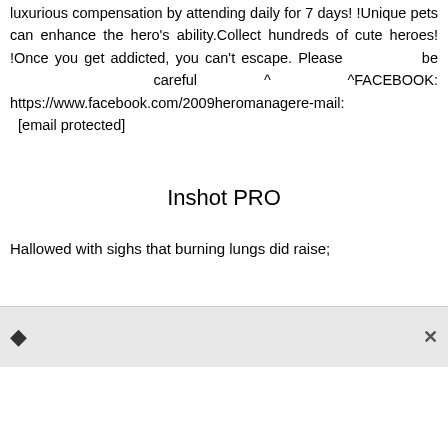luxurious compensation by attending daily for 7 days! !Unique pets can enhance the hero's ability.Collect hundreds of cute heroes! !Once you get addicted, you can't escape. Please be careful ^ ^FACEBOOK: https://www.facebook.com/2009heromanagere-mail: [email protected]
Inshot PRO
Hallowed with sighs that burning lungs did raise;
[Figure (other): Bottom toolbar with a diamond/help icon on the left and a close (×) button on the right, on a light gray background]